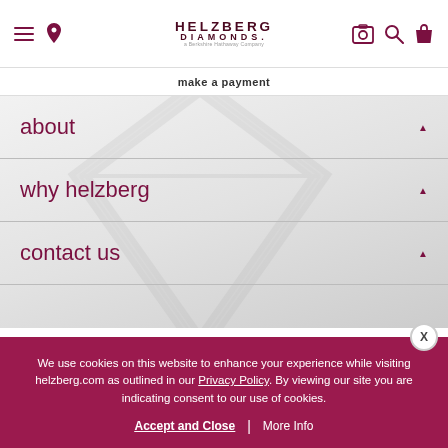Helzberg Diamonds - A Berkshire Hathaway Company
make a payment
about
why helzberg
contact us
Accessibility Statement | Terms & Conditions | Privacy Policy | Privacy Opt-Out | Sitemap
We use cookies on this website to enhance your experience while visiting helzberg.com as outlined in our Privacy Policy. By viewing our site you are indicating consent to our use of cookies.
Accept and Close | More Info
today's top offers